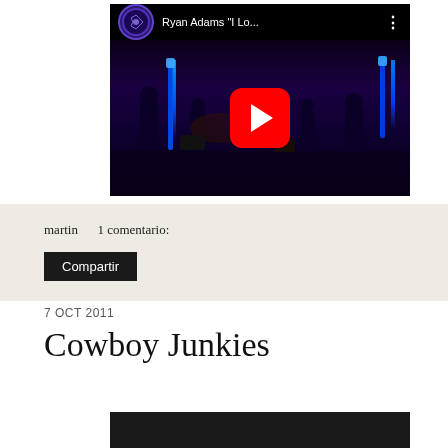[Figure (screenshot): YouTube video thumbnail showing Ryan Adams 'I Lo...' with a dark concert stage scene, blue stage lighting, and a red YouTube play button in the center. The video bar at the top shows a circular channel icon and the video title.]
martin    1 comentario:
Compartir
7 OCT 2011
Cowboy Junkies
[Figure (screenshot): Bottom of a dark video thumbnail, partially visible]